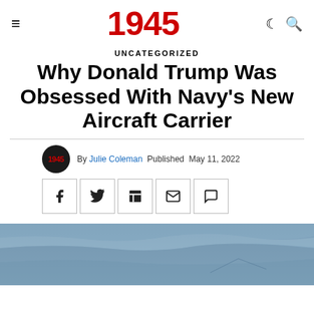1945
UNCATEGORIZED
Why Donald Trump Was Obsessed With Navy's New Aircraft Carrier
By Julie Coleman Published May 11, 2022
[Figure (photo): Ocean/sea surface photograph, partially visible at bottom of page]